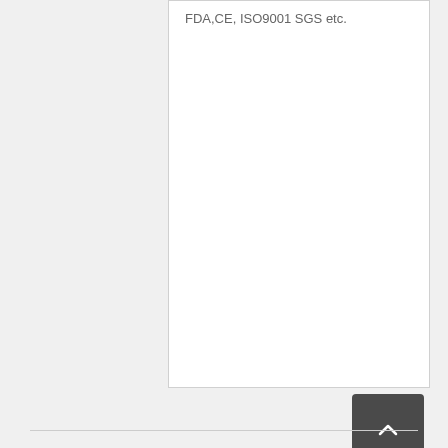FDA,CE, ISO9001 SGS etc.
[Figure (other): Scroll-to-top button with upward chevron arrow on dark gray background]